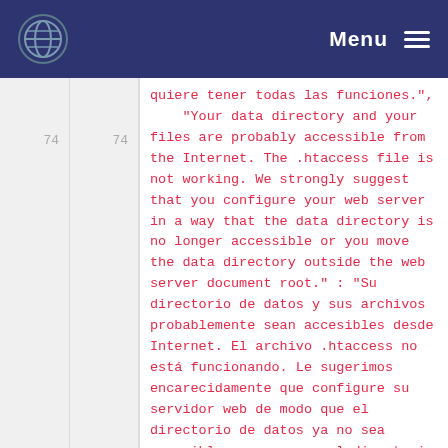Menu
quiere tener todas las funciones.",
    "Your data directory and your files are probably accessible from the Internet. The .htaccess file is not working. We strongly suggest that you configure your web server in a way that the data directory is no longer accessible or you move the data directory outside the web server document root." : "Su directorio de datos y sus archivos probablemente sean accesibles desde Internet. El archivo .htaccess no está funcionando. Le sugerimos encarecidamente que configure su servidor web de modo que el directorio de datos ya no sea accesible o que mueva el directorio de datos fuera de la raíz de documentos del servidor web.",